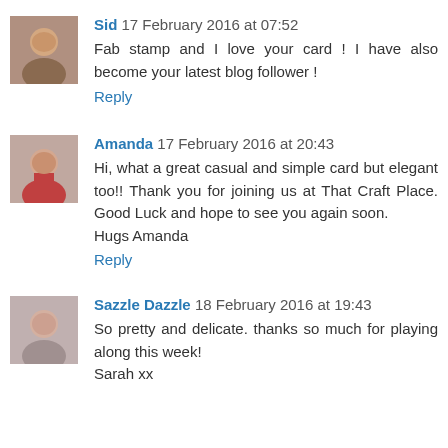Sid  17 February 2016 at 07:52
Fab stamp and I love your card ! I have also become your latest blog follower !
Reply
Amanda  17 February 2016 at 20:43
Hi, what a great casual and simple card but elegant too!! Thank you for joining us at That Craft Place. Good Luck and hope to see you again soon.
Hugs Amanda
Reply
Sazzle Dazzle  18 February 2016 at 19:43
So pretty and delicate. thanks so much for playing along this week!
Sarah xx